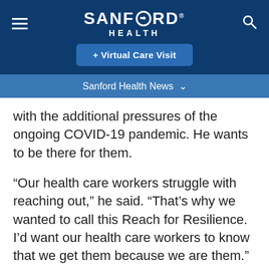[Figure (logo): Sanford Health logo with hamburger menu icon on left and search icon on right, white text on dark navy background with Virtual Care Visit button]
Sanford Health News
with the additional pressures of the ongoing COVID-19 pandemic. He wants to be there for them.
“Our health care workers struggle with reaching out,” he said. “That’s why we wanted to call this Reach for Resilience. I’d want our health care workers to know that we get them because we are them.”
Connect now: Call Reach for Resilience at (701)